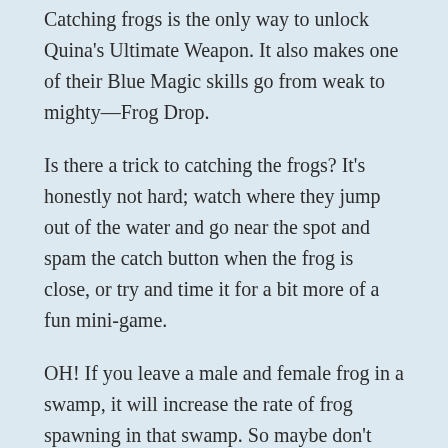Catching frogs is the only way to unlock Quina's Ultimate Weapon. It also makes one of their Blue Magic skills go from weak to mighty—Frog Drop.
Is there a trick to catching the frogs? It's honestly not hard; watch where they jump out of the water and go near the spot and spam the catch button when the frog is close, or try and time it for a bit more of a fun mini-game.
OH! If you leave a male and female frog in a swamp, it will increase the rate of frog spawning in that swamp. So maybe don't catch EVERY frog when you visit.
Blue Magic and Eat